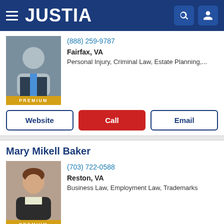JUSTIA
(888) 259-9787
Fairfax, VA
Personal Injury, Criminal Law, Estate Planning,...
PREMIUM
Website | Call | Email
Mary Mikell Baker
(703) 722-0588
Reston, VA
Business Law, Employment Law, Trademarks
PREMIUM
Website | Call | Email
Jamie J. Sack